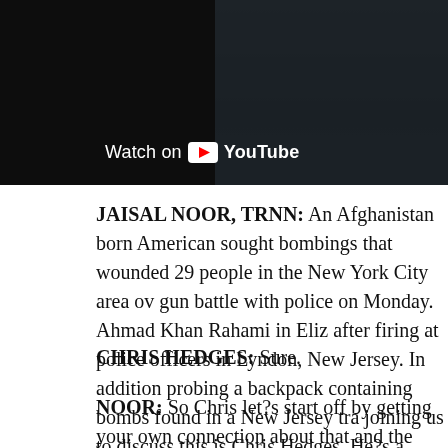[Figure (screenshot): YouTube video thumbnail showing 'Watch on YouTube' overlay text with YouTube logo on a dark background with partially visible people/equipment]
JAISAL NOOR, TRNN: An Afghanistan born American sought bombings that wounded 29 people in the New York City area over gun battle with police on Monday. Ahmad Khan Rahami in Eliza after firing at police officers in Lyndon, New Jersey. In addition probing a backpack containing bombs found in a New Jersey tra joining us to discuss this is Chris Hedges. He?s a Pulitzer Prize Truth Dig, he was a former Middle East Bureau Chief for the N extensively from the occupied Palestinian territories. Thanks so
CHRIS HEDGES: Sure.
NOOR: So Chris let?s start off by getting your own connection about that and the community there.